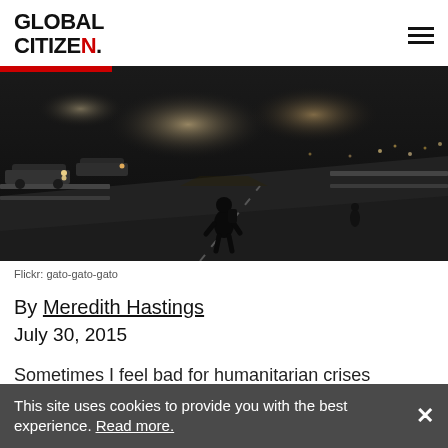GLOBAL CITIZEN.
[Figure (photo): Black and white night photograph of a person standing alone on a highway bridge or overpass, with cars and city lights in the background. Dark, high-contrast image.]
Flickr: gato-gato-gato
By Meredith Hastings
July 30, 2015
Sometimes I feel bad for humanitarian crises
This site uses cookies to provide you with the best experience. Read more.